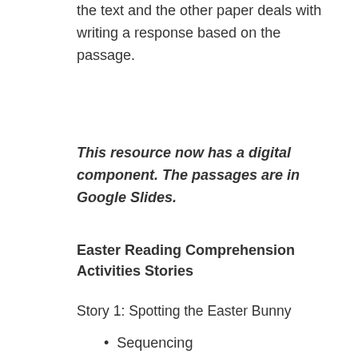the text and the other paper deals with writing a response based on the passage.
This resource now has a digital component. The passages are in Google Slides.
Easter Reading Comprehension Activities Stories
Story 1: Spotting the Easter Bunny
Sequencing